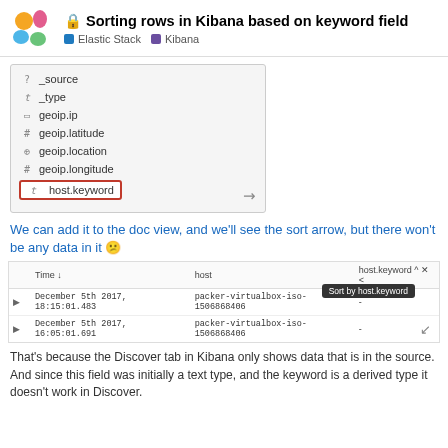Sorting rows in Kibana based on keyword field — Elastic Stack · Kibana
[Figure (screenshot): Kibana field list screenshot showing fields: _source, _type, geoip.ip, geoip.latitude, geoip.location, geoip.longitude, and host.keyword (highlighted with red border). An expand arrows icon is in the bottom right.]
We can add it to the doc view, and we'll see the sort arrow, but there won't be any data in it 😕
[Figure (screenshot): Kibana Discover table with columns Time, host, host.keyword. Two rows show December 5th 2017 timestamps with packer-virtualbox-iso-1506868406 host values. host.keyword column shows dashes. A 'Sort by host.keyword' tooltip is shown.]
That's because the Discover tab in Kibana only shows data that is in the source. And since this field was initially a text type, and the keyword is a derived type it doesn't work in Discover.